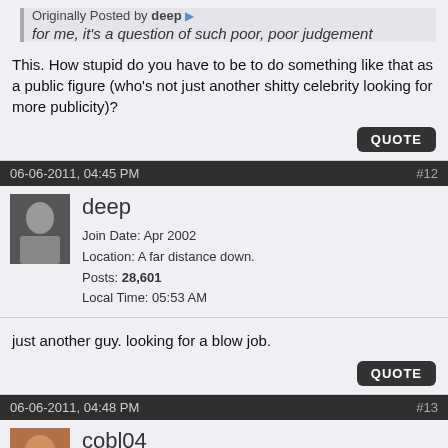Originally Posted by deep
for me, it's a question of such poor, poor judgement
This. How stupid do you have to be to do something like that as a public figure (who's not just another shitty celebrity looking for more publicity)?
06-06-2011, 04:45 PM  #12
deep
Join Date: Apr 2002
Location: A far distance down.
Posts: 28,601
Local Time: 05:53 AM
just another guy. looking for a blow job.
06-06-2011, 04:48 PM  #13
cobl04
Join Date: Jun 2005
Location: East Point to Shaolin
Posts: 58,529
Local Time: 11:53 PM